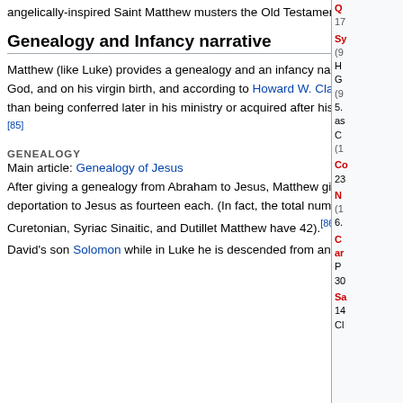angelically-inspired Saint Matthew musters the Old Testament figures, led by Abraham and David
Genealogy and Infancy narrative
Matthew (like Luke) provides a genealogy and an infancy narrative of Jesus. Although the two accounts differ, both agree on Jesus being both Son of David, and Son of God, and on his virgin birth, and according to Howard W. Clarke, that Jesus' status as the long-awaited Messiah and as the Son of God was assured before his birth rather than being conferred later in his ministry or acquired after his death. [85]
GENEALOGY
Main article: Genealogy of Jesus
After giving a genealogy from Abraham to Jesus, Matthew gives the number of generations from Abraham to David, from David to the deportation to Babylon, and from the deportation to Jesus as fourteen each. (In fact, the total number of men in the list, including both Abraham and Jesus, is only 41 in the Greek texts whereas the Syriac Curetonian, Syriac Sinaitic, and Dutillet Matthew have 42).[86] Matthew traces the genealogy of Jesus through Joseph, not Mary. Matthew puts Joseph a descendant of David's son Solomon while in Luke he is descended from another son of David, Nathan.[87] After David, the lists coincide again at Shealtiel and Zerubbabel (founder of